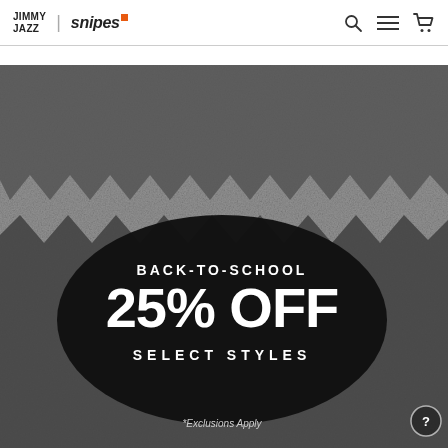JIMMY JAZZ | snipes
[Figure (illustration): Back-to-school promotional banner with grainy black and white zigzag background texture, dark black blob in center containing promotional text: BACK-TO-SCHOOL 25% OFF SELECT STYLES, with *Exclusions Apply text at bottom.]